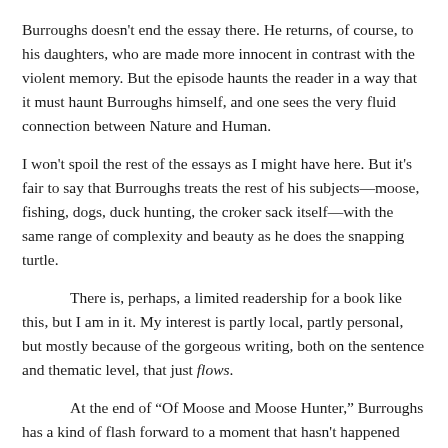Burroughs doesn't end the essay there. He returns, of course, to his daughters, who are made more innocent in contrast with the violent memory. But the episode haunts the reader in a way that it must haunt Burroughs himself, and one sees the very fluid connection between Nature and Human.
I won't spoil the rest of the essays as I might have here. But it's fair to say that Burroughs treats the rest of his subjects—moose, fishing, dogs, duck hunting, the croker sack itself—with the same range of complexity and beauty as he does the snapping turtle.
There is, perhaps, a limited readership for a book like this, but I am in it. My interest is partly local, partly personal, but mostly because of the gorgeous writing, both on the sentence and thematic level, that just flows.
At the end of “Of Moose and Moose Hunter,” Burroughs has a kind of flash forward to a moment that hasn’t happened yet, but will, when he sees a moose while fly-fishing, and how he describes it might be exactly how one feels about reading this book: